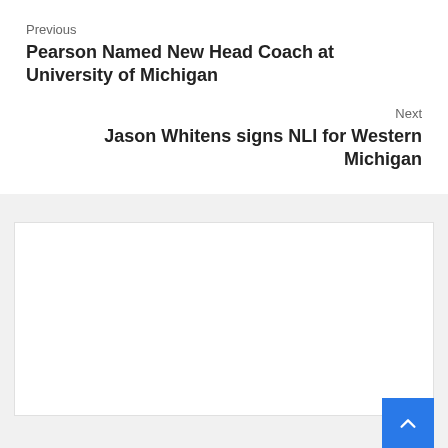Previous
Pearson Named New Head Coach at University of Michigan
Next
Jason Whitens signs NLI for Western Michigan
[Figure (other): Advertisement placeholder white box]
More Stories